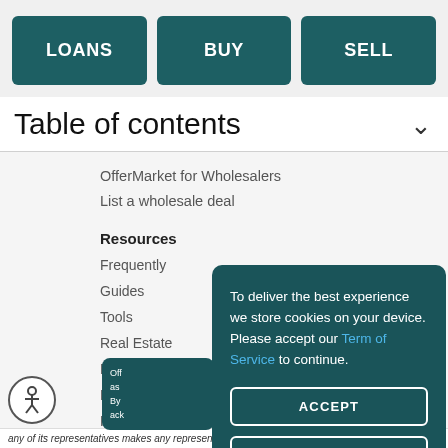[Figure (screenshot): Navigation bar with three dark teal buttons: LOANS, BUY, SELL]
Table of contents
OfferMarket for Wholesalers
List a wholesale deal
Resources
Frequently
Guides
Tools
Real Estate
Real Estate
Market Ove
Referral Pro
Insurance
To deliver the best experience we store cookies on your device. Please accept our Term of Service to continue.
ACCEPT
DECLINE
any of its representatives makes any representation or